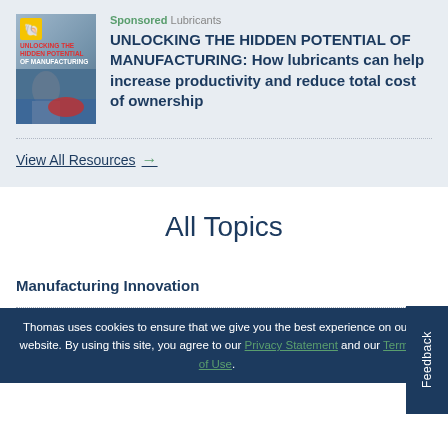[Figure (illustration): Book cover for Shell lubricants sponsored content titled UNLOCKING THE HIDDEN POTENTIAL OF MANUFACTURING with Shell logo and worker image]
Sponsored Lubricants
UNLOCKING THE HIDDEN POTENTIAL OF MANUFACTURING: How lubricants can help increase productivity and reduce total cost of ownership
View All Resources →
All Topics
Manufacturing Innovation
Thomas uses cookies to ensure that we give you the best experience on our website. By using this site, you agree to our Privacy Statement and our Terms of Use.